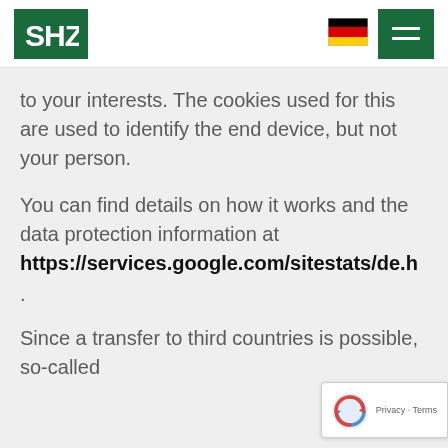[Figure (logo): SHZ logo in green box with white text]
[Figure (illustration): German flag icon]
[Figure (other): Green hamburger menu button with two white bars]
to your interests. The cookies used for this are used to identify the end device, but not your person.
You can find details on how it works and the data protection information at https://services.google.com/sitestats/de.h .
Since a transfer to third countries is possible, so-called
[Figure (other): Google reCAPTCHA badge with arrow icon and Privacy - Terms text]